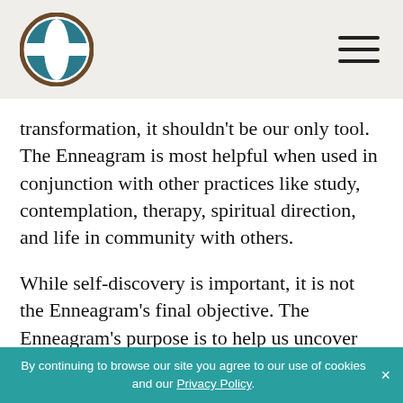[Figure (logo): Circular globe logo with brown border and teal/white globe design]
transformation, it shouldn't be our only tool. The Enneagram is most helpful when used in conjunction with other practices like study, contemplation, therapy, spiritual direction, and life in community with others.
While self-discovery is important, it is not the Enneagram's final objective. The Enneagram's purpose is to help us uncover the traps that keep us from living fully and freely as our True Self in God (See Romans 7:20,22). When we get in touch with our Essential nature, we can use our unique, authentic gifts for the good of
By continuing to browse our site you agree to our use of cookies and our Privacy Policy.